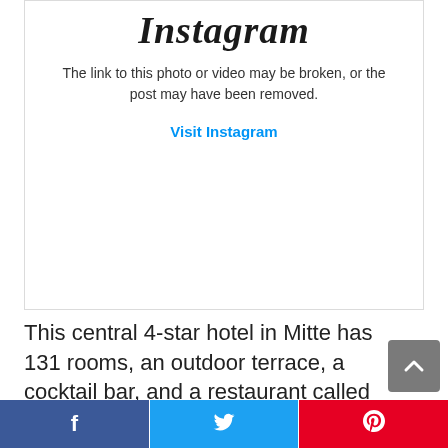[Figure (screenshot): Instagram broken link placeholder box showing the Instagram logo, a message that the link to the photo or video may be broken or the post may have been removed, and a Visit Instagram link.]
The link to this photo or video may be broken, or the post may have been removed.
Visit Instagram
This central 4-star hotel in Mitte has 131 rooms, an outdoor terrace, a cocktail bar, and a restaurant called Kunstwerk that serves dinner.
[Figure (other): Social sharing bar with Facebook (blue), Twitter (light blue), and Pinterest (red) buttons at the bottom of the page.]